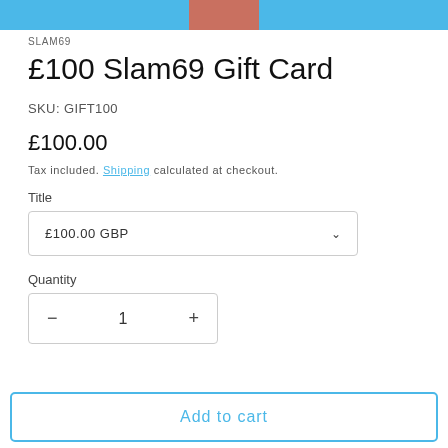[Figure (other): Top navigation bar with blue background and reddish-brown center block]
SLAM69
£100 Slam69 Gift Card
SKU: GIFT100
£100.00
Tax included. Shipping calculated at checkout.
Title
£100.00 GBP
Quantity
1
Add to cart